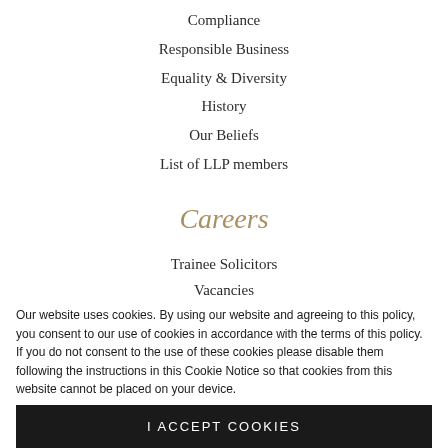Compliance
Responsible Business
Equality & Diversity
History
Our Beliefs
List of LLP members
Careers
Trainee Solicitors
Vacancies
Our website uses cookies. By using our website and agreeing to this policy, you consent to our use of cookies in accordance with the terms of this policy. If you do not consent to the use of these cookies please disable them following the instructions in this Cookie Notice so that cookies from this website cannot be placed on your device.
I ACCEPT COOKIES